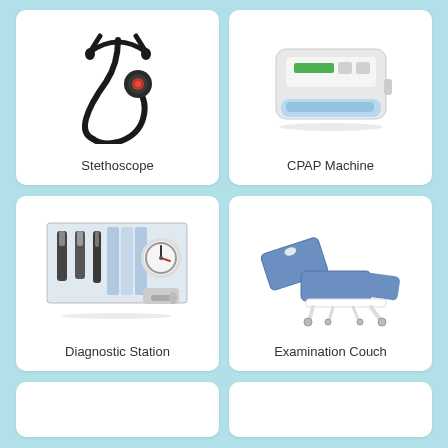[Figure (photo): Stethoscope medical instrument, black tubing with dual head chestpiece]
Stethoscope
[Figure (photo): CPAP Machine, white box-shaped sleep apnea device with blue water chamber and green display]
CPAP Machine
[Figure (photo): Diagnostic Station wall-mounted medical diagnostic set including otoscope, ophthalmoscope, and blood pressure gauge]
Diagnostic Station
[Figure (photo): Examination Couch, blue padded three-section medical examination table with wheels]
Examination Couch
[Figure (photo): Partially visible medical equipment card at bottom left]
[Figure (photo): Partially visible medical equipment card at bottom right]